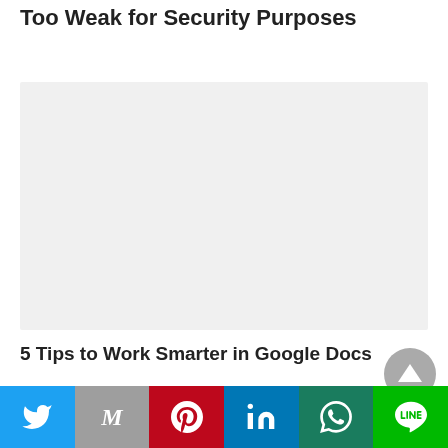Report: Half of All Zoom Users' Passwords Are Too Weak for Security Purposes
[Figure (photo): Light gray placeholder image block for an article thumbnail or header image]
5 Tips to Work Smarter in Google Docs
RECENT POSTS
[Figure (other): Social share bar with Twitter, Gmail, Pinterest, LinkedIn, WhatsApp, and LINE buttons]